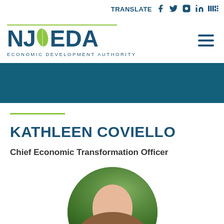TRANSLATE
[Figure (logo): NJEDA - New Jersey Economic Development Authority logo with green NJ state outline and yellow-green accent line]
[Figure (illustration): Teal/dark blue horizontal banner]
KATHLEEN COVIELLO
Chief Economic Transformation Officer
[Figure (photo): Circular portrait photo of Kathleen Coviello with green foliage background]